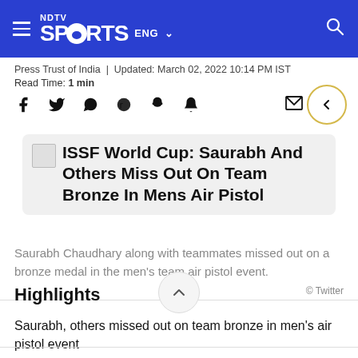NDTV Sports ENG
Press Trust of India | Updated: March 02, 2022 10:14 PM IST
Read Time: 1 min
ISSF World Cup: Saurabh And Others Miss Out On Team Bronze In Mens Air Pistol
Saurabh Chaudhary along with teammates missed out on a bronze medal in the men's team air pistol event.
© Twitter
Highlights
Saurabh, others missed out on team bronze in men's air pistol event
Indian pistol team finished with total of 6 to finish